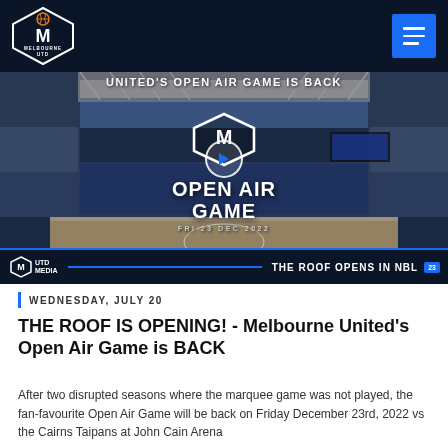Melbourne United
[Figure (screenshot): Video thumbnail showing Melbourne United Open Air Game promotional content. Text reads 'UNITED'S OPEN AIR GAME IS BACK', 'OPEN AIR GAME', 'FRI 23 DEC 2022', 'THE ROOF OPENS IN NBL23', with MUTD MEDIA logo, play button, and stadium crowd background image.]
WEDNESDAY, JULY 20
THE ROOF IS OPENING! - Melbourne United's Open Air Game is BACK
After two disrupted seasons where the marquee game was not played, the fan-favourite Open Air Game will be back on Friday December 23rd, 2022 vs the Cairns Taipans at John Cain Arena